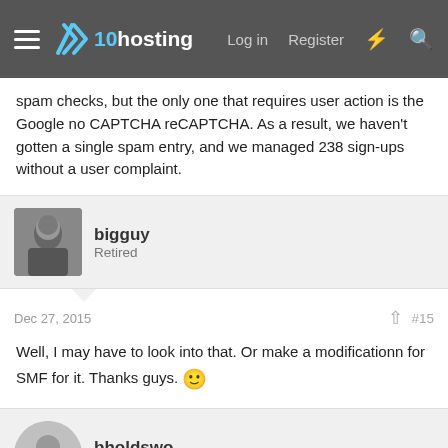x10hosting — Log in | Register
spam checks, but the only one that requires user action is the Google no CAPTCHA reCAPTCHA. As a result, we haven't gotten a single spam entry, and we managed 238 sign-ups without a user complaint.
bigguy
Retired
Dec 27, 2015  #15
Well, I may have to look into that. Or make a modificationn for SMF for it. Thanks guys. 🙂
bholdswo
Member
May 1, 2016  #16